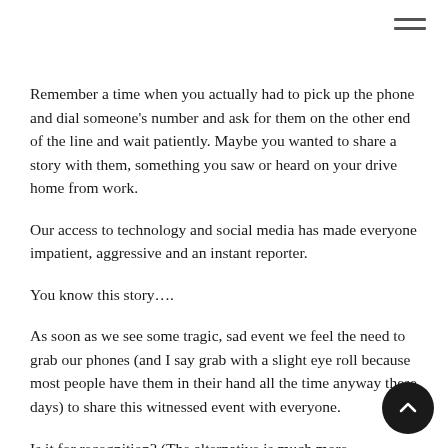Remember a time when you actually had to pick up the phone and dial someone's number and ask for them on the other end of the line and wait patiently. Maybe you wanted to share a story with them, something you saw or heard on your drive home from work.
Our access to technology and social media has made everyone impatient, aggressive and an instant reporter.
You know this story….
As soon as we see some tragic, sad event we feel the need to grab our phones (and I say grab with a slight eye roll because most people have them in their hand all the time anyway these days) to share this witnessed event with everyone.
Is it for recognition? (The alternative is much more heartbreak…